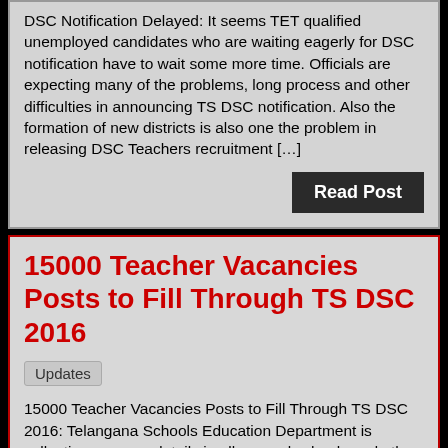DSC Notification Delayed: It seems TET qualified unemployed candidates who are waiting eagerly for DSC notification have to wait some more time. Officials are expecting many of the problems, long process and other difficulties in announcing TS DSC notification. Also the formation of new districts is also one the problem in releasing DSC Teachers recruitment […]
Read Post
15000 Teacher Vacancies Posts to Fill Through TS DSC 2016
Updates
15000 Teacher Vacancies Posts to Fill Through TS DSC 2016: Telangana Schools Education Department is collecting vacancy details in all general schools and other residential schools running under different societies. From 2 months TS school education dept. is trying to fill up 15,000 teaching posts in all required schools through TET & DSC. Already Deputy […]